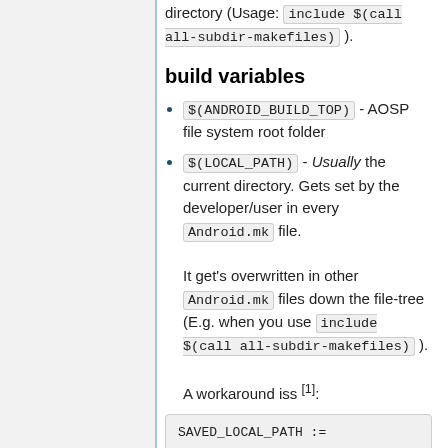directory (Usage: include $(call all-subdir-makefiles) ).
build variables
$(ANDROID_BUILD_TOP) - AOSP file system root folder
$(LOCAL_PATH) - Usually the current directory. Gets set by the developer/user in every Android.mk file. It get's overwritten in other Android.mk files down the file-tree (E.g. when you use include $(call all-subdir-makefiles) ). A workaround iss [1]:
SAVED_LOCAL_PATH :=